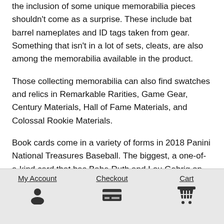the inclusion of some unique memorabilia pieces shouldn't come as a surprise. These include bat barrel nameplates and ID tags taken from gear. Something that isn't in a lot of sets, cleats, are also among the memorabilia available in the product.
Those collecting memorabilia can also find swatches and relics in Remarkable Rarities, Game Gear, Century Materials, Hall of Fame Materials, and Colossal Rookie Materials.
Book cards come in a variety of forms in 2018 Panini National Treasures Baseball. The biggest, a one-of-a-kind card that has Babe Ruth and Lou Gehrig on the same cut signature piece. It's flanked on both sides by a pair of pieces from both legends.
My Account   Checkout   Cart